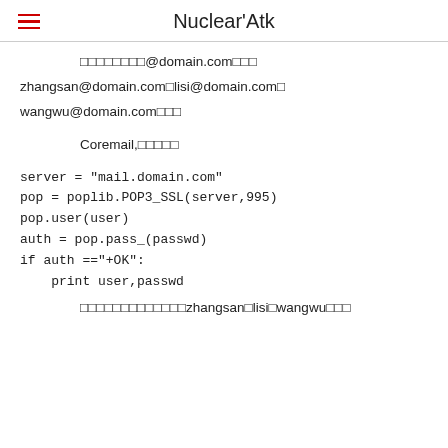Nuclear'Atk
□□□□□□□□@domain.com□□□
zhangsan@domain.com□lisi@domain.com□
wangwu@domain.com□□□
Coremail,□□□□□
□□□□□□□□□□□□□zhangsan□lisi□wangwu□□□